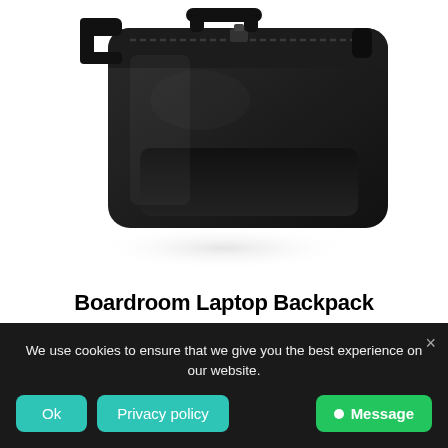[Figure (photo): Product photo of a black Boardroom Laptop Backpack shown from a side/top angle against a white background with subtle reflection below]
Boardroom Laptop Backpack
Add to basket
We use cookies to ensure that we give you the best experience on our website.
Ok
Privacy policy
Message